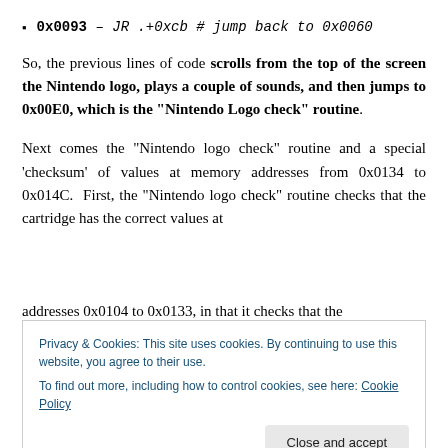0x0093 – JR .+0xcb # jump back to 0x0060
So, the previous lines of code scrolls from the top of the screen the Nintendo logo, plays a couple of sounds, and then jumps to 0x00E0, which is the "Nintendo Logo check" routine.
Next comes the “Nintendo logo check” routine and a special ‘checksum’ of values at memory addresses from 0x0134 to 0x014C.  First, the “Nintendo logo check” routine checks that the cartridge has the correct values at
Privacy & Cookies: This site uses cookies. By continuing to use this website, you agree to their use.
To find out more, including how to control cookies, see here: Cookie Policy
does not match the corresponding value, the Game Boy